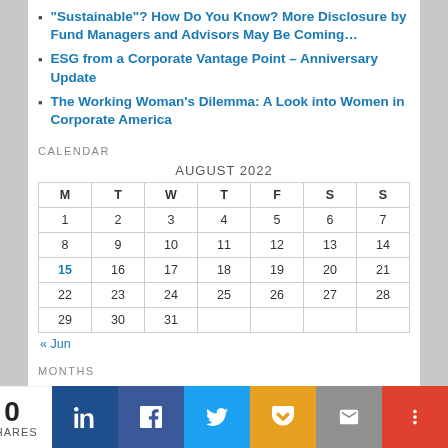"Sustainable"? How Do You Know? More Disclosure by Fund Managers and Advisors May Be Coming…
ESG from a Corporate Vantage Point – Anniversary Update
The Working Woman's Dilemma: A Look into Women in Corporate America
CALENDAR
| M | T | W | T | F | S | S |
| --- | --- | --- | --- | --- | --- | --- |
| 1 | 2 | 3 | 4 | 5 | 6 | 7 |
| 8 | 9 | 10 | 11 | 12 | 13 | 14 |
| 15 | 16 | 17 | 18 | 19 | 20 | 21 |
| 22 | 23 | 24 | 25 | 26 | 27 | 28 |
| 29 | 30 | 31 |  |  |  |  |
« Jun
MONTHS